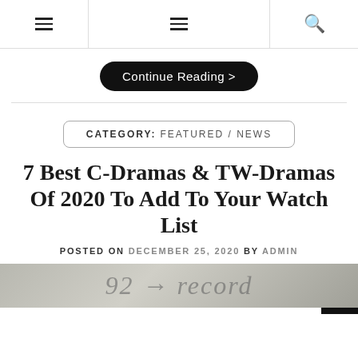Navigation bar with hamburger menus and search icon
Continue Reading >
CATEGORY: FEATURED / NEWS
7 Best C-Dramas & TW-Dramas Of 2020 To Add To Your Watch List
POSTED ON DECEMBER 25, 2020 BY ADMIN
[Figure (photo): Partial view of an image showing what appears to be a street or record shop scene with numbers and text visible]